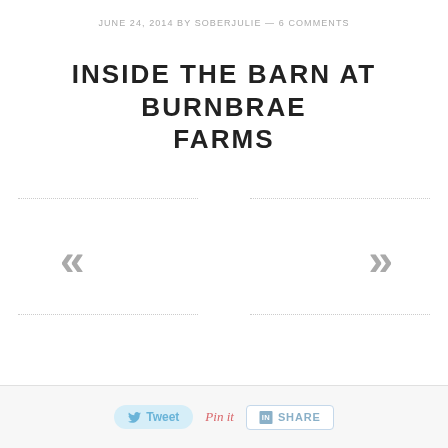JUNE 24, 2014 BY SOBERJULIE — 6 COMMENTS
INSIDE THE BARN AT BURNBRAE FARMS
[Figure (other): Navigation arrows with dotted border lines. Left side shows double left chevron (<<) and right side shows double right chevron (>>), surrounded by dotted horizontal lines above and below.]
Tweet | Pin it | SHARE